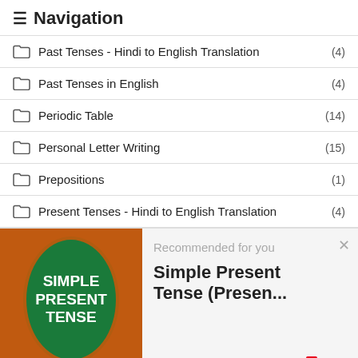≡ Navigation
Past Tenses - Hindi to English Translation (4)
Past Tenses in English (4)
Periodic Table (14)
Personal Letter Writing (15)
Prepositions (1)
Present Tenses - Hindi to English Translation (4)
[Figure (illustration): Book cover showing Simple Present Tense with green oval on brown/orange background]
Recommended for you
Simple Present Tense (Presen...